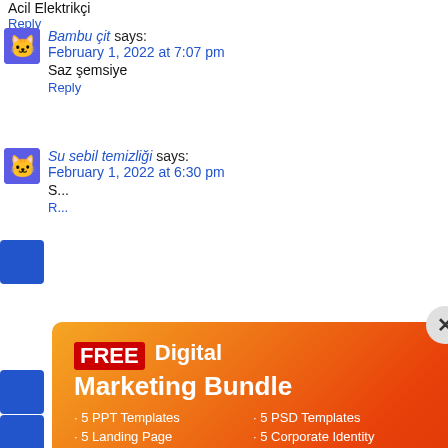Acil Elektrikçi
Reply
Bambu çit says:
February 1, 2022 at 7:07 pm
Saz şemsiye
Reply
Su sebil temizliği says:
February 1, 2022 at 6:30 pm
[Figure (infographic): Popup ad for FREE Digital Marketing Bundle. Contains: 5 PPT Templates, 5 PSD Templates, 5 Landing Page Templates, 5 Corporate Identity Templates. Email input field and Get Bundle button. Close button (X) in top right corner.]